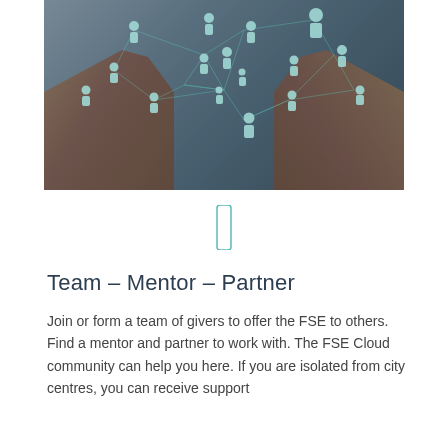[Figure (photo): Hands holding up a digital network of connected human figure icons with glowing teal lines between them, representing networking or community connection.]
[Figure (illustration): Small teal outline icon of a single standing person figure.]
Team – Mentor – Partner
Join or form a team of givers to offer the FSE to others. Find a mentor and partner to work with. The FSE Cloud community can help you here. If you are isolated from city centres, you can receive support